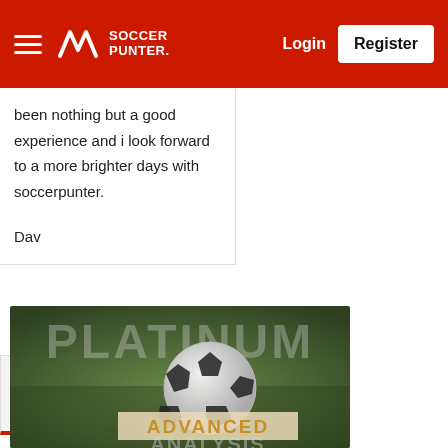Soccer Punter — Login | Register
been nothing but a good experience and i look forward to a more brighter days with soccerpunter.

Dav
Join Platinum to Win More
[Figure (photo): Soccer ball on grass field with 'PLATINUM' watermark text and 'ADVANCED ANALYSIS' overlay label]